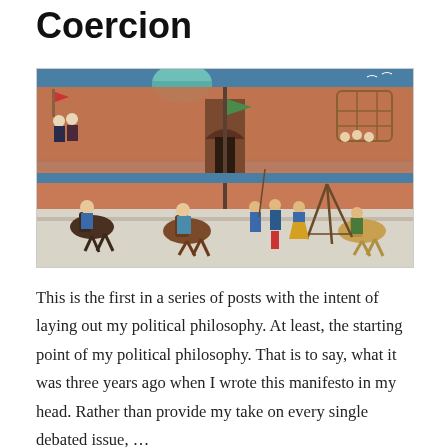Coercion
[Figure (illustration): A medieval manuscript-style illustration showing Mongol warriors on horseback approaching a walled city. Figures in blue and colorful robes, horses, tents, and a fortified gate are visible. The palette is dominated by terracotta reds, blues, and greens.]
This is the first in a series of posts with the intent of laying out my political philosophy. At least, the starting point of my political philosophy. That is to say, what it was three years ago when I wrote this manifesto in my head. Rather than provide my take on every single debated issue, …